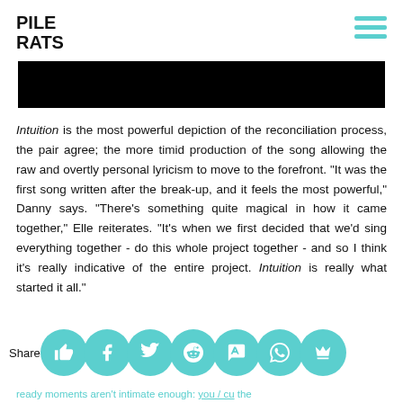PILE RATS
[Figure (photo): Black rectangular image bar, likely a redacted or blank media element]
Intuition is the most powerful depiction of the reconciliation process, the pair agree; the more timid production of the song allowing the raw and overtly personal lyricism to move to the forefront. "It was the first song written after the break-up, and it feels the most powerful," Danny says. "There's something quite magical in how it came together," Elle reiterates. "It's when we first decided that we'd sing everything together - do this whole project together - and so I think it's really indicative of the entire project. Intuition is really what started it all."
[Figure (infographic): Share bar with social media icons: thumbs up, Facebook, Twitter, Reddit, SMS, WhatsApp, and crown icon, all in teal circles]